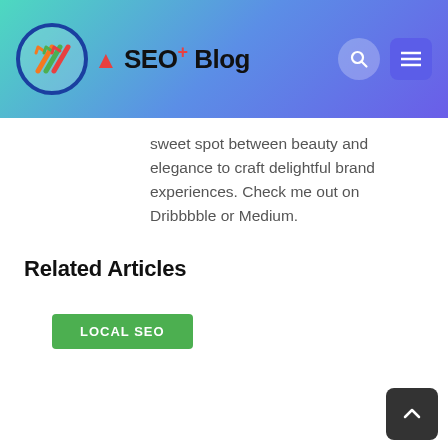[Figure (logo): A SEO+ Blog website header with logo (colorful circular icon with arrows), brand name 'A SEO+ Blog', search icon, and hamburger menu icon on a teal-to-purple gradient background]
sweet spot between beauty and elegance to craft delightful brand experiences. Check me out on Dribbbble or Medium.
Related Articles
LOCAL SEO